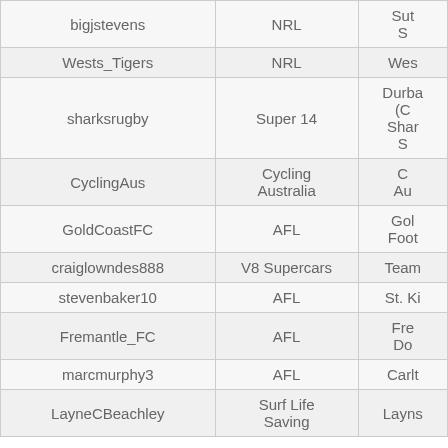| Username | Sport | Club/Organisation |
| --- | --- | --- |
| bigjstevens | NRL | Su...S... |
| Wests_Tigers | NRL | Wes... |
| sharksrugby | Super 14 | Durba... (C... Shar... S... |
| CyclingAus | Cycling Australia | C... Au... |
| GoldCoastFC | AFL | Gol... Foot... |
| craiglowndes888 | V8 Supercars | Team... |
| stevenbaker10 | AFL | St. Ki... |
| Fremantle_FC | AFL | Fre... Do... |
| marcmurphy3 | AFL | Carlt... |
| LayneCBeachley | Surf Life Saving | Layns... |